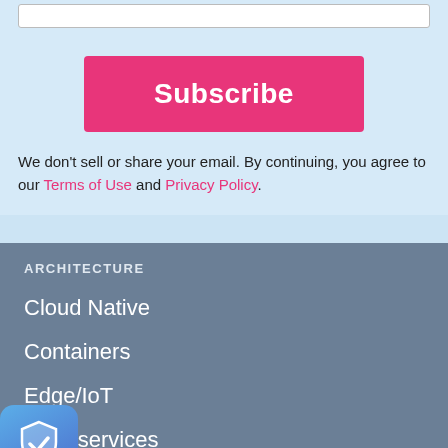[Figure (screenshot): Input text field bar at the top]
Subscribe
We don’t sell or share your email. By continuing, you agree to our Terms of Use and Privacy Policy.
ARCHITECTURE
Cloud Native
Containers
Edge/IoT
Microservices
Networking
Serverless